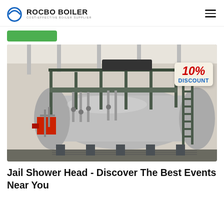ROCBO BOILER — COST-EFFECTIVE BOILER SUPPLIER
[Figure (photo): Large industrial horizontal boiler with metal scaffolding, stairs, and red burner assembly inside a warehouse facility. A promotional badge reading '10% DISCOUNT' is overlaid in the upper right corner.]
Jail Shower Head - Discover The Best Events Near You